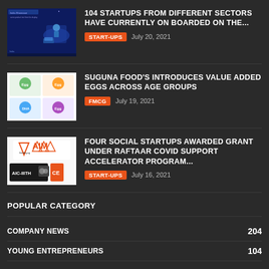[Figure (illustration): Blue background thumbnail with India Showcase text and isometric illustration]
104 STARTUPS FROM DIFFERENT SECTORS HAVE CURRENTLY ON BOARDED ON THE...
START-UPS  July 20, 2021
[Figure (photo): White background thumbnail showing colorful food product packages including DHA eggs]
SUGUNA FOOD'S INTRODUCES VALUE ADDED EGGS ACROSS AGE GROUPS
FMCG  July 19, 2021
[Figure (logo): White background thumbnail with AIM (Atal Innovation Mission) and AIC-IIITH logos]
FOUR SOCIAL STARTUPS AWARDED GRANT UNDER RAFTAAR COVID SUPPORT ACCELERATOR PROGRAM...
START-UPS  July 16, 2021
POPULAR CATEGORY
COMPANY NEWS  204
YOUNG ENTREPRENEURS  104